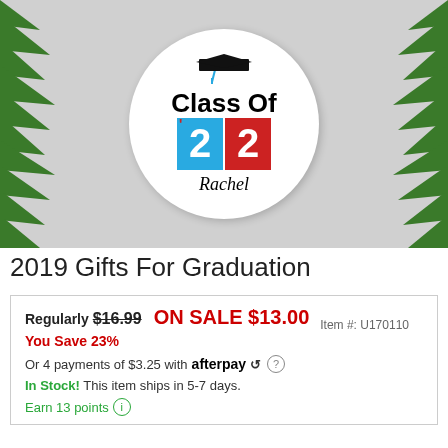[Figure (photo): Product photo of a round graduation ornament/button with 'Class Of '22' text and 'Rachel' name, on gray background with pine branches]
2019 Gifts For Graduation
Regularly $16.99   ON SALE $13.00   Item #: U170110
You Save 23%
Or 4 payments of $3.25 with afterpay
In Stock! This item ships in 5-7 days.
Earn 13 points